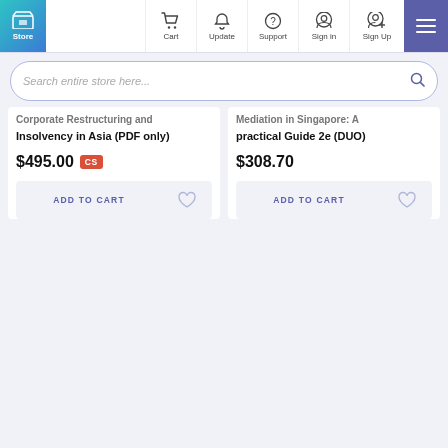Store | Cart | Update | Support | Sign in | Sign Up
Search entire store here...
Corporate Restructuring and Insolvency in Asia (PDF only)
$495.00
ADD TO CART
Mediation in Singapore: A practical Guide 2e (DUO)
$308.70
ADD TO CART